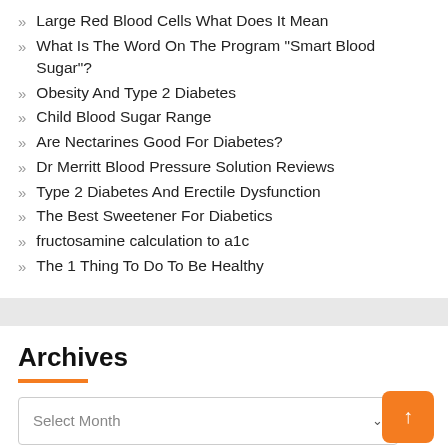Large Red Blood Cells What Does It Mean
What Is The Word On The Program “Smart Blood Sugar”?
Obesity And Type 2 Diabetes
Child Blood Sugar Range
Are Nectarines Good For Diabetes?
Dr Merritt Blood Pressure Solution Reviews
Type 2 Diabetes And Erectile Dysfunction
The Best Sweetener For Diabetics
fructosamine calculation to a1c
The 1 Thing To Do To Be Healthy
Archives